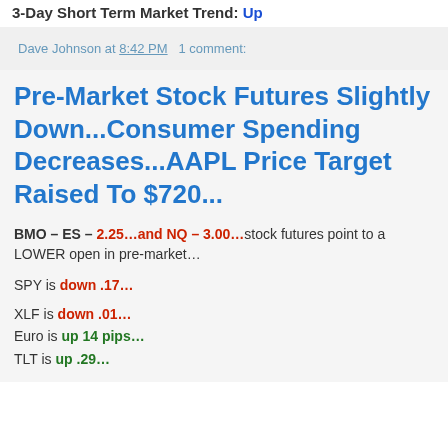3-Day Short Term Market Trend: Up
Dave Johnson at 8:42 PM   1 comment:
Pre-Market Stock Futures Slightly Down...Consumer Spending Decreases...AAPL Price Target Raised To $720...
BMO – ES – 2.25…and NQ – 3.00… stock futures point to a LOWER open in pre-market…
SPY is down .17…
XLF is down .01…
Euro is up 14 pips…
TLT is up .29…